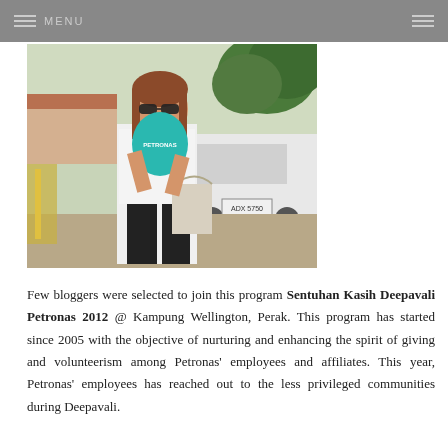MENU
[Figure (photo): A young woman wearing sunglasses and a white top, holding a teal/turquoise Petronas-branded balloon in front of her face, carrying a tote bag, standing outdoors near a white van and a building with trees in the background.]
Few bloggers were selected to join this program Sentuhan Kasih Deepavali Petronas 2012 @ Kampung Wellington, Perak. This program has started since 2005 with the objective of nurturing and enhancing the spirit of giving and volunteerism among Petronas' employees and affiliates. This year, Petronas' employees has reached out to the less privileged communities during Deepavali.